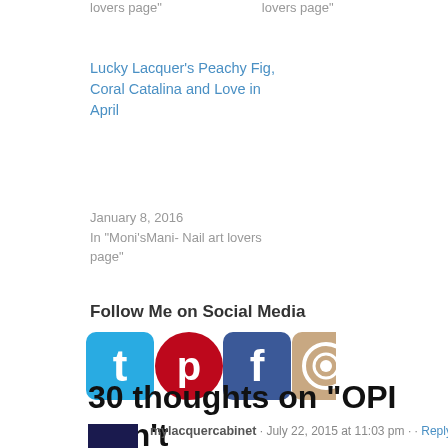lovers page"
lovers page"
Lucky Lacquer's Peachy Fig, Coral Catalina and Love in April
January 8, 2016
In "Moni'sMani- Nail art lovers page"
Follow Me on Social Media
[Figure (other): Social media icons: Twitter (blue bird), Pinterest (red P), Facebook (blue f), Instagram (camera)]
30 thoughts on “OPI Don’t Bossa Nova me Around”
mylacquercabinet · July 22, 2015 at 11:03 pm · · Reply